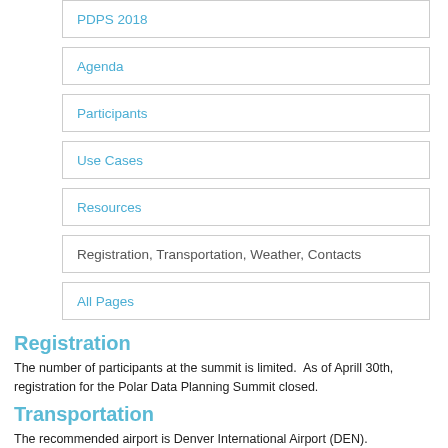PDPS 2018
Agenda
Participants
Use Cases
Resources
Registration, Transportation, Weather, Contacts
All Pages
Registration
The number of participants at the summit is limited.  As of Aprill 30th, registration for the Polar Data Planning Summit closed.
Transportation
The recommended airport is Denver International Airport (DEN).